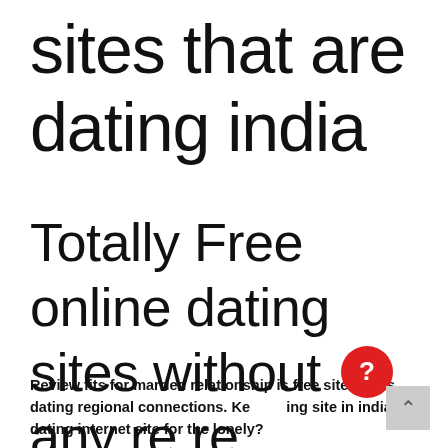sites that are dating india
Totally Free online dating sites without any re re payment in india
Review fits for married relationship is free site that is dating regional connections. Keeping site in indian dating internet site for the lonely?